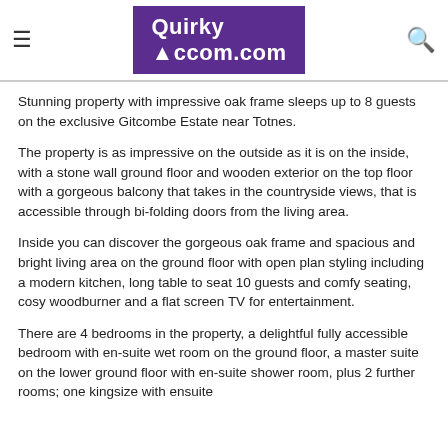QuirkyAccom.com
Stunning property with impressive oak frame sleeps up to 8 guests on the exclusive Gitcombe Estate near Totnes.
The property is as impressive on the outside as it is on the inside, with a stone wall ground floor and wooden exterior on the top floor with a gorgeous balcony that takes in the countryside views, that is accessible through bi-folding doors from the living area.
Inside you can discover the gorgeous oak frame and spacious and bright living area on the ground floor with open plan styling including a modern kitchen, long table to seat 10 guests and comfy seating, cosy woodburner and a flat screen TV for entertainment.
There are 4 bedrooms in the property, a delightful fully accessible bedroom with en-suite wet room on the ground floor, a master suite on the lower ground floor with en-suite shower room, plus 2 further rooms; one kingsize with ensuite